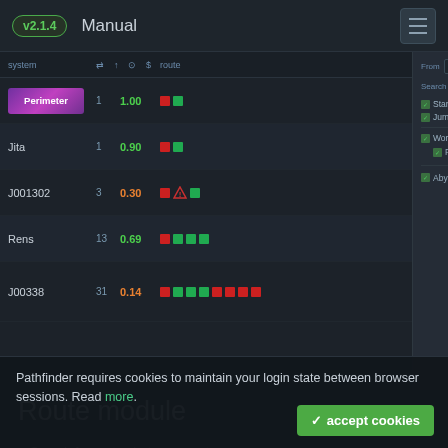v2.1.4   Manual
[Figure (screenshot): Pathfinder route module UI screenshot showing a system table on the left with entries: Perimeter (1, 1.00), Jita (1, 0.90), J001302 (3, 0.30 with warning), Rens (13, 0.69), J00338 (31, 0.14), and a route search panel on the right with search options including Stargate, Jump Bridges, Wormholes, Starjp (reduced), Frigates, and Abyssal checkboxes.]
Route module
Search for routes between systems
Predefined trade hub routes
'Jita', 'Amarr', 'Rens', 'Dodixie'
Add/Search custom routes
Advanced search
Search on multiple maps
Filter routes by:
Pathfinder requires cookies to maintain your login state between browser sessions. Read more.